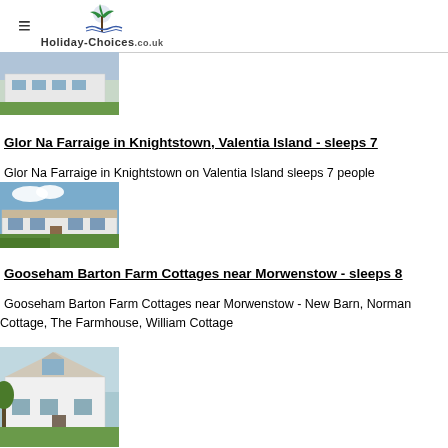Holiday-Choices.co.uk
[Figure (photo): Partially visible photo of a white building, top of page]
Glor Na Farraige in Knightstown, Valentia Island - sleeps 7
Glor Na Farraige in Knightstown on Valentia Island sleeps 7 people
[Figure (photo): Exterior photo of a white cottage with garden]
Gooseham Barton Farm Cottages near Morwenstow - sleeps 8
Gooseham Barton Farm Cottages near Morwenstow - New Barn, Norman Cottage, The Farmhouse, William Cottage
[Figure (photo): Exterior photo of a white house with garden]